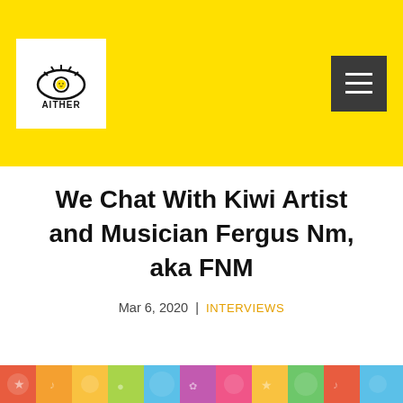AITHER — navigation header with logo and hamburger menu
We Chat With Kiwi Artist and Musician Fergus Nm, aka FNM
Mar 6, 2020 | INTERVIEWS
[Figure (photo): Colorful collage strip of artwork at the bottom of the page]